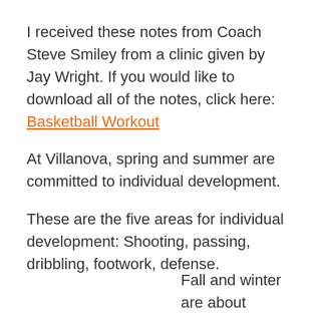I received these notes from Coach Steve Smiley from a clinic given by Jay Wright. If you would like to download all of the notes, click here: Basketball Workout
At Villanova, spring and summer are committed to individual development.
These are the five areas for individual development: Shooting, passing, dribbling, footwork, defense.
Fall and winter are about